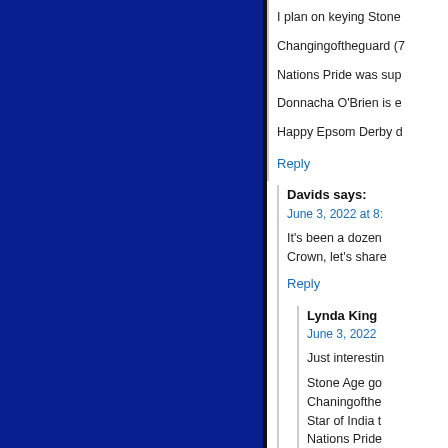I plan on keying Stone
Changingoftheguard (7
Nations Pride was sup
Donnacha O'Brien is e
Happy Epsom Derby d
Reply
Davids says:
June 3, 2022 at 8:
It's been a dozen Crown, let's share
Reply
Lynda King
June 3, 2022
Just interestin
Stone Age go
Chaningofthe
Star of India t
Nations Pride
Piz Badile – G
Wantoun...